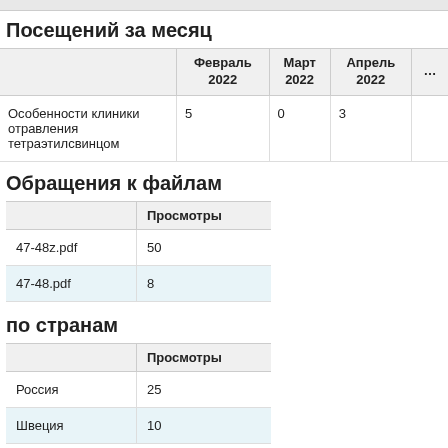Посещений за месяц
|  | Февраль 2022 | Март 2022 | Апрель 2022 | … |
| --- | --- | --- | --- | --- |
| Особенности клиники отравления тетраэтилсвинцом | 5 | 0 | 3 | … |
Обращения к файлам
|  | Просмотры |
| --- | --- |
| 47-48z.pdf | 50 |
| 47-48.pdf | 8 |
по странам
|  | Просмотры |
| --- | --- |
| Россия | 25 |
| Швеция | 10 |